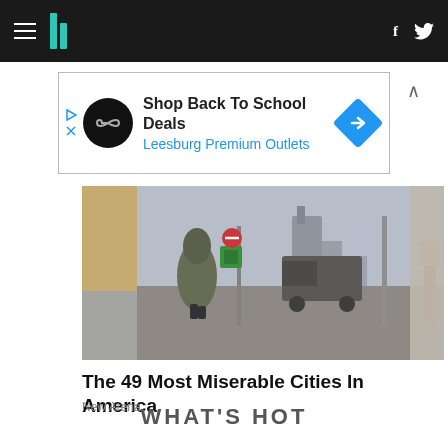HuffPost navigation header with hamburger menu, logo, and social icons (Facebook, Twitter)
[Figure (infographic): Advertisement banner: Shop Back To School Deals - Leesburg Premium Outlets]
[Figure (photo): Street scene photo showing a person wrapped in a blanket/cloak walking on a rainy urban sidewalk, with a truck and buildings visible in background]
The 49 Most Miserable Cities In America
New Arena
WHAT'S HOT